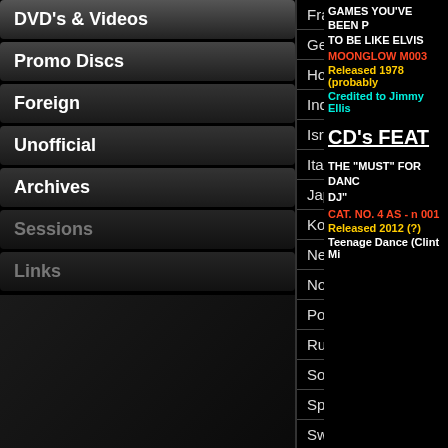DVD's & Videos
Promo Discs
Foreign
Unofficial
Archives
Sessions
Links
France
Germany
Holland
Indonesia
Israel
Italy
Japan
Korea
New Zealand
Norway
Poland
Russian Federation
South Africa
Spain
Sweden
United Kingdom
GAMES YOU'VE BEEN P... TO BE LIKE ELVIS
MOONGLOW M003
Released 1978 (probably)
Credited to Jimmy Ellis
CD's FEAT
THE "MUST" FOR DANC... DJ"
CAT. NO. 4 AS - n 001
Released 2012 (?)
Teenage Dance (Clint Mi...